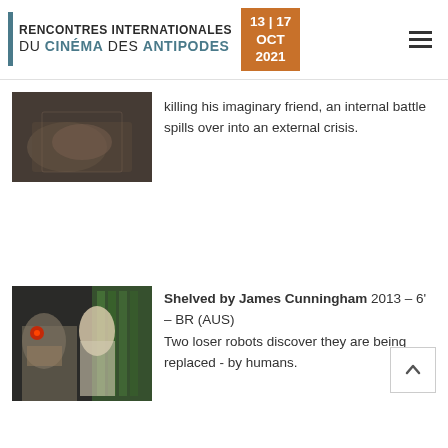RENCONTRES INTERNATIONALES DU CINÉMA DES ANTIPODES 13|17 OCT 2021
[Figure (photo): Close-up photo of hands, dark moody tone]
killing his imaginary friend, an internal battle spills over into an external crisis.
[Figure (photo): Photo of a robot and a woman in a warehouse setting]
Shelved by James Cunningham 2013 – 6' – BR (AUS)
Two loser robots discover they are being replaced - by humans.